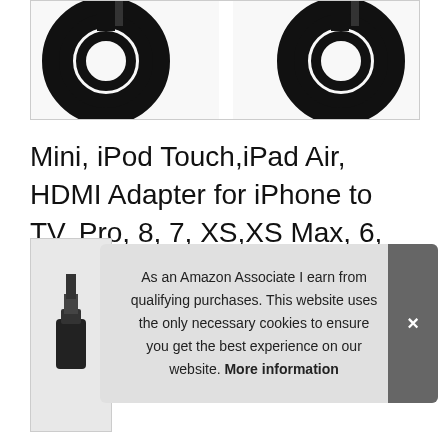[Figure (photo): Top portion of product image showing black coiled HDMI cables against white background]
Mini, iPod Touch,iPad Air, HDMI Adapter for iPhone to TV, Pro, 8, 7, XS,XS Max, 6, HDMI Adapter Cable Support 1080P HD Digital Compatible with iPhone X,XR, iPod to TV Projector Monitor, iPad
[Figure (photo): Thumbnail image of cable connector partially visible]
As an Amazon Associate I earn from qualifying purchases. This website uses the only necessary cookies to ensure you get the best experience on our website. More information